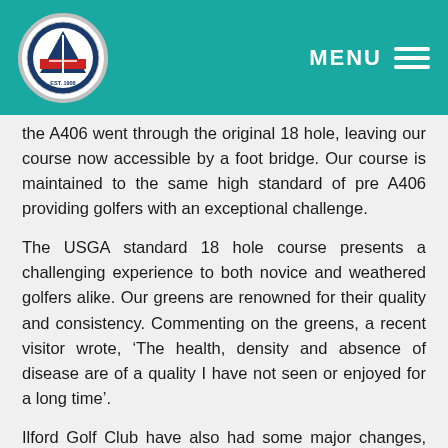MENU [logo]
the A406 went through the original 18 hole, leaving our course now accessible by a foot bridge. Our course is maintained to the same high standard of pre A406 providing golfers with an exceptional challenge.
The USGA standard 18 hole course presents a challenging experience to both novice and weathered golfers alike. Our greens are renowned for their quality and consistency. Commenting on the greens, a recent visitor wrote, ‘The health, density and absence of disease are of a quality I have not seen or enjoyed for a long time’.
Ilford Golf Club have also had some major changes, with the sale of our old clubhouse and the erection of our new pre-fabricated building that is now situated in